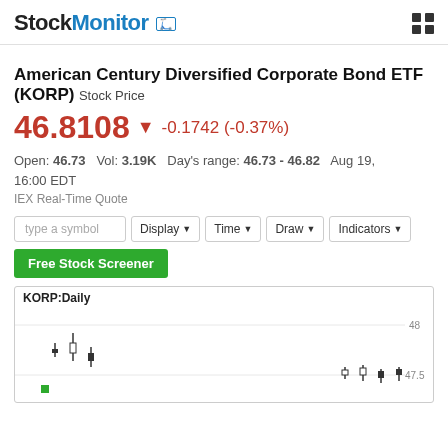StockMonitor
American Century Diversified Corporate Bond ETF (KORP) Stock Price
46.8108 ▼ -0.1742 (-0.37%)
Open: 46.73   Vol: 3.19K   Day's range: 46.73 - 46.82   Aug 19, 16:00 EDT
IEX Real-Time Quote
[Figure (screenshot): Control bar with symbol input, Display, Time, Draw, Indicators dropdowns and Free Stock Screener button]
[Figure (continuous-plot): KORP:Daily candlestick stock chart showing price around 47.5-48 range]